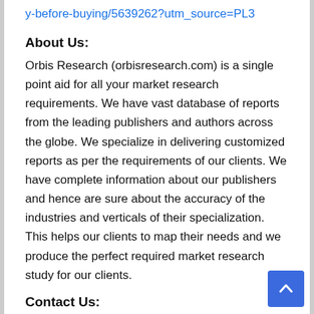y-before-buying/5639262?utm_source=PL3
About Us:
Orbis Research (orbisresearch.com) is a single point aid for all your market research requirements. We have vast database of reports from the leading publishers and authors across the globe. We specialize in delivering customized reports as per the requirements of our clients. We have complete information about our publishers and hence are sure about the accuracy of the industries and verticals of their specialization. This helps our clients to map their needs and we produce the perfect required market research study for our clients.
Contact Us:
Hector Costello